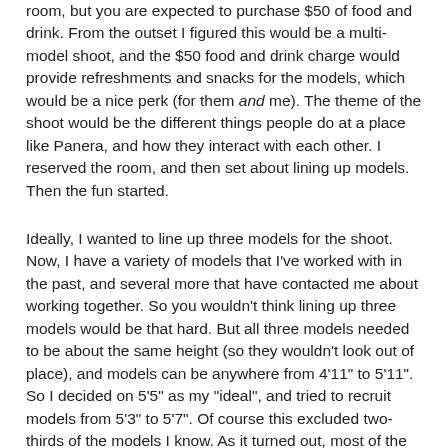room, but you are expected to purchase $50 of food and drink. From the outset I figured this would be a multi-model shoot, and the $50 food and drink charge would provide refreshments and snacks for the models, which would be a nice perk (for them and me). The theme of the shoot would be the different things people do at a place like Panera, and how they interact with each other. I reserved the room, and then set about lining up models. Then the fun started.
Ideally, I wanted to line up three models for the shoot. Now, I have a variety of models that I've worked with in the past, and several more that have contacted me about working together. So you wouldn't think lining up three models would be that hard. But all three models needed to be about the same height (so they wouldn't look out of place), and models can be anywhere from 4'11" to 5'11". So I decided on 5'5" as my "ideal", and tried to recruit models from 5'3" to 5'7". Of course this excluded two-thirds of the models I know. As it turned out, most of the models I contacted (who did meet the height requirement) were unavailable. In desperation I started contacting models on OneModelPlace and ModelMayhem, as well as posting a casting call on